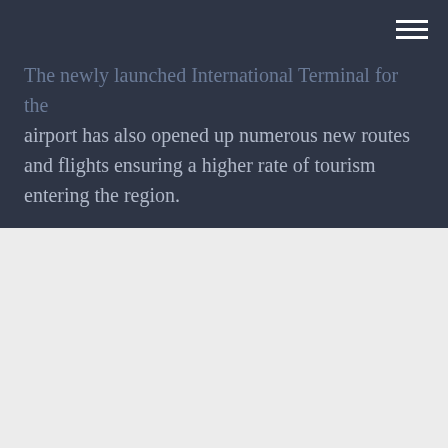The newly launched International Terminal for the airport has also opened up numerous new routes and flights ensuring a higher rate of tourism entering the region.
[Figure (bar-chart): Cancun Airport - Number of passengers per year]